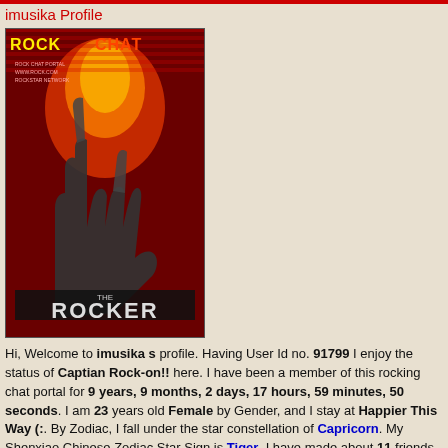imusika Profile
[Figure (photo): Movie poster for 'The Rocker' with rock hands raised against a fiery red background, with text 'ROCK CHAT' at top in yellow/red]
Hi, Welcome to imusika s profile. Having User Id no. 91799 I enjoy the status of Captian Rock-on!! here. I have been a member of this rocking chat portal for 9 years, 9 months, 2 days, 17 hours, 59 minutes, 50 seconds. I am 23 years old Female by Gender, and I stay at Happier This Way (:. By Zodiac, I fall under the star constellation of Capricorn. My Shenxiao Chinese Zodiac Star Sign is Tiger. I have made about 11 friends here. My short signature info for everybody is Collecting Some Wisdom Currently I have been Idle for 2 months, 17 days, 3 hours, 18 minutes, 18 seconds